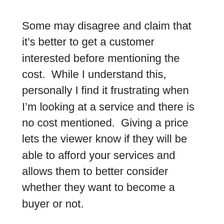Some may disagree and claim that it's better to get a customer interested before mentioning the cost.  While I understand this, personally I find it frustrating when I'm looking at a service and there is no cost mentioned.  Giving a price lets the viewer know if they will be able to afford your services and allows them to better consider whether they want to become a buyer or not.
5. Share the benefits of choosing your service
This is one of the most important aspects for a